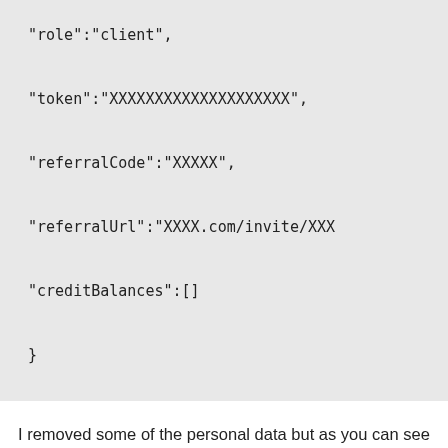"role":"client",

"token":"XXXXXXXXXXXXXXXXXXXX",

"referralCode":"XXXXX",

"referralUrl":"XXXX.com/invite/XXX

"creditBalances":[]

}
I removed some of the personal data but as you can see there is some juicy information here.